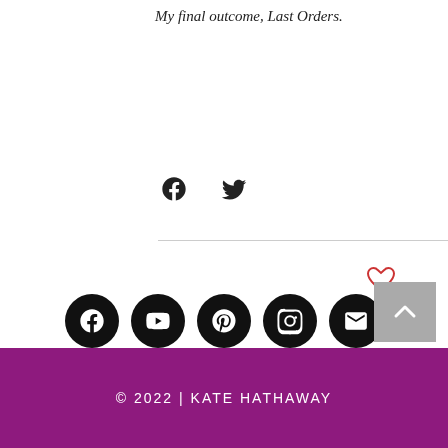My final outcome, Last Orders.
[Figure (infographic): Social share icons: Facebook and Twitter]
[Figure (infographic): Heart/like icon in red outline]
0 comments
[Figure (infographic): User avatar placeholder (grey silhouette) and Leave a message... text input box]
[Figure (infographic): Social media icons row: Facebook, YouTube, Pinterest, Instagram, Email; and a back-to-top arrow button]
© 2022 | KATE HATHAWAY